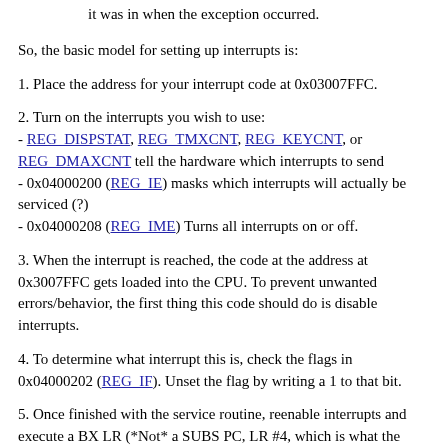it was in when the exception occurred.
So, the basic model for setting up interrupts is:
1. Place the address for your interrupt code at 0x03007FFC.
2. Turn on the interrupts you wish to use:
- REG_DISPSTAT, REG_TMXCNT, REG_KEYCNT, or REG_DMAXCNT tell the hardware which interrupts to send
- 0x04000200 (REG_IE) masks which interrupts will actually be serviced (?)
- 0x04000208 (REG_IME) Turns all interrupts on or off.
3. When the interrupt is reached, the code at the address at 0x3007FFC gets loaded into the CPU. To prevent unwanted errors/behavior, the first thing this code should do is disable interrupts.
4. To determine what interrupt this is, check the flags in 0x04000202 (REG_IF). Unset the flag by writing a 1 to that bit.
5. Once finished with the service routine, reenable interrupts and execute a BX LR (*Not* a SUBS PC, LR #4, which is what the BIOS does). The BIOS will then take over and return your